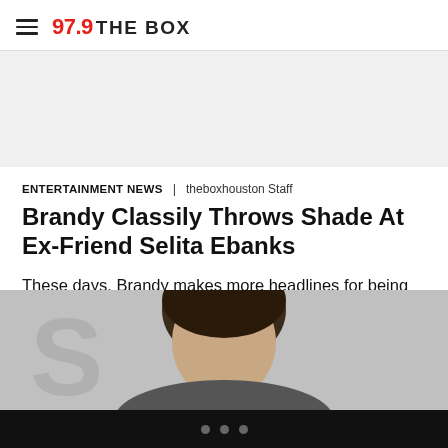97.9 THE BOX
ENTERTAINMENT NEWS | theboxhouston Staff
Brandy Classily Throws Shade At Ex-Friend Selita Ebanks
These days, Brandy makes more headlines for being shady than she does for her music — but this time around, her clap back may be warranted. An Instagram fan page dedicated to the singer, a photo collage was posted of Brandy hanging with model Selita Ebanks, and more photos of Ebanks with a couple of […]
[Figure (photo): Photo of a person with dark hair at what appears to be an event, with a partial letter 'S' visible in the background]